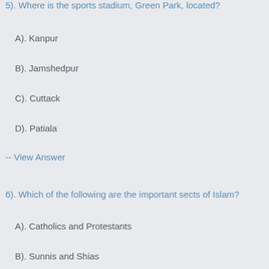5). Where is the sports stadium, Green Park, located?
A). Kanpur
B). Jamshedpur
C). Cuttack
D). Patiala
-- View Answer
6). Which of the following are the important sects of Islam?
A). Catholics and Protestants
B). Sunnis and Shias